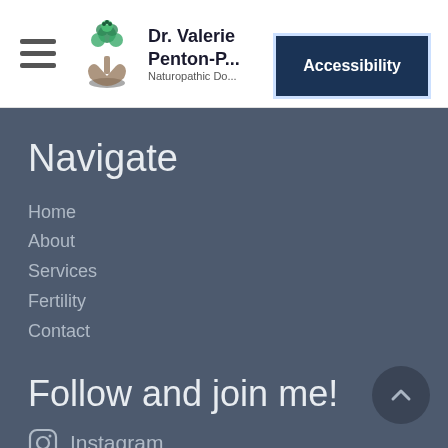[Figure (logo): Dr. Valerie Penton-[...] Naturopathic Doctor logo with tree/hands icon]
Accessibility
Navigate
Home
About
Services
Fertility
Contact
Follow and join me!
Instagram